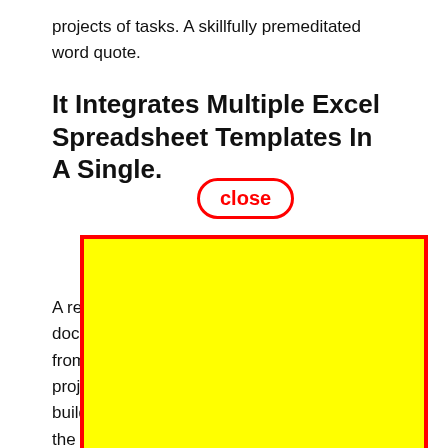projects of tasks. A skillfully premeditated word quote.
It Integrates Multiple Excel Spreadsheet Templates In A Single.
A re[...] e of docu[...] e from[...] proje[...] build[...] e of the d[...] part of yo[...] mat[...] tive data entry.
[Figure (other): Yellow rectangle overlay with red border covering most of the body text area, with a red-bordered 'close' button label in red text above it.]